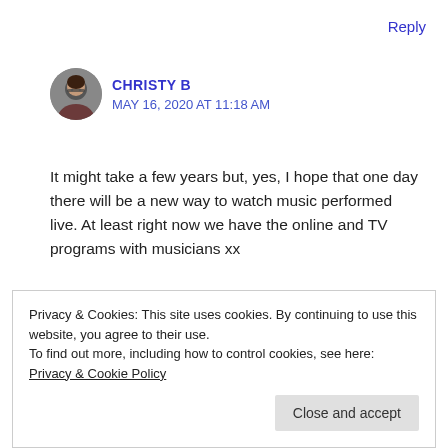Reply
[Figure (photo): Avatar photo of Christy B, a woman with glasses and dark hair]
CHRISTY B
MAY 16, 2020 AT 11:18 AM
It might take a few years but, yes, I hope that one day there will be a new way to watch music performed live. At least right now we have the online and TV programs with musicians xx
Privacy & Cookies: This site uses cookies. By continuing to use this website, you agree to their use.
To find out more, including how to control cookies, see here: Privacy & Cookie Policy
Close and accept